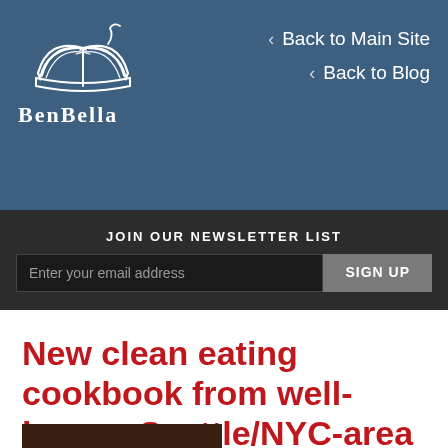[Figure (logo): BenBella logo with open book illustration and 'BENBELLA' text]
< Back to Main Site
< Back to Blog
JOIN OUR NEWSLETTER LIST
Enter your email address   SIGN UP
New clean eating cookbook from well-known Seattle/NYC-area chef
POSTED BY GLENN YEFFETH ON JULY 8TH, 2016